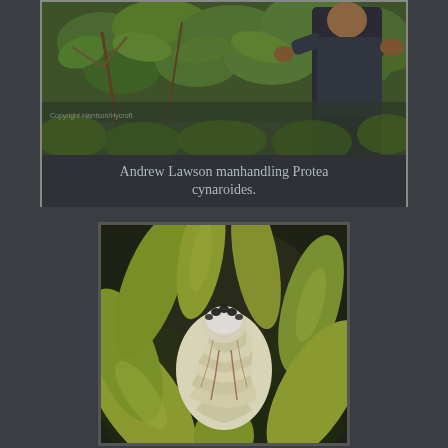[Figure (photo): A framed image showing a man in a dark shirt handling or examining Protea cynaroides shrubs with round leaves. Copyright Harrison/Hycroft watermark visible. Below the photo within the same frame is a caption reading 'Andrew Lawson manhandling Protea cynaroides.']
[Figure (photo): A close-up photograph of a Protea cynaroides flower bud surrounded by large green-yellow leaves, set against a dark background.]